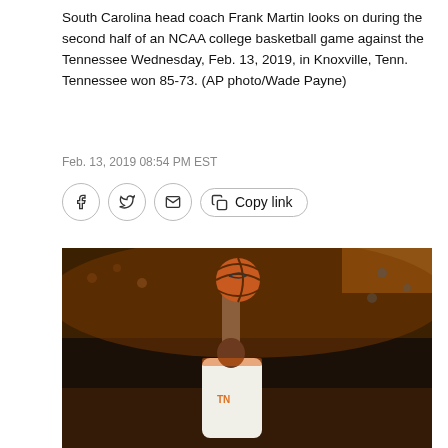South Carolina head coach Frank Martin looks on during the second half of an NCAA college basketball game against the Tennessee Wednesday, Feb. 13, 2019, in Knoxville, Tenn. Tennessee won 85-73. (AP photo/Wade Payne)
Feb. 13, 2019 08:54 PM EST
[Figure (photo): Basketball player in white Tennessee uniform reaches up with one hand to shoot or dunk a basketball, photographed in an arena with orange-clad crowd in background]